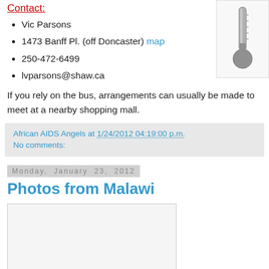Contact:
Vic Parsons
1473 Banff Pl. (off Doncaster) map
250-472-6499
lvparsons@shaw.ca
[Figure (photo): Image of a thermometer or similar cylindrical object on the right side]
If you rely on the bus, arrangements can usually be made to meet at a nearby shopping mall.
African AIDS Angels at 1/24/2012 04:19:00 p.m.
No comments:
Monday, January 23, 2012
Photos from Malawi
[Figure (photo): Photo placeholder box, mostly blank/white]